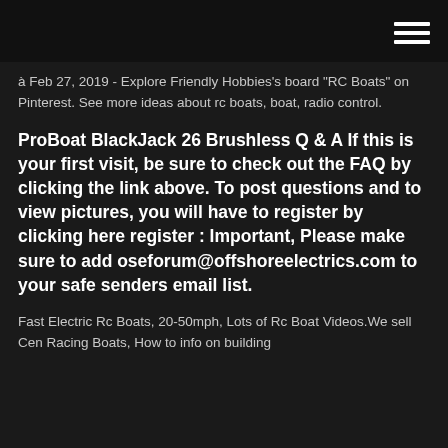à Feb 27, 2019 - Explore Friendly Hobbies's board "RC Boats" on Pinterest. See more ideas about rc boats, boat, radio control.
ProBoat BlackJack 26 Brushless Q & A If this is your first visit, be sure to check out the FAQ by clicking the link above. To post questions and to view pictures, you will have to register by clicking here register : Important, Please make sure to add oseforum@offshoreelectrics.com to your safe senders email list.
Fast Electric Rc Boats, 20-50mph, Lots of Rc Boat Videos.We sell Cen Racing Boats, How to info on building